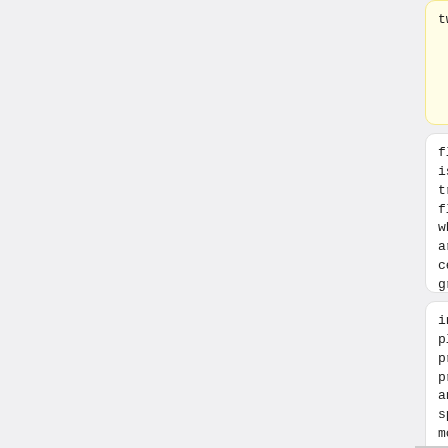two
tes it has two
flagella. One is the transverse flagellum, which wraps around the cell in a groove
flagella. One is the transverse flagellum, which wraps around the cell in a groove
in the thecal plates and provides propulsion and a spinning motion. The other is a
in the thecal plates and provides propulsion and a spinning motion. The other is a